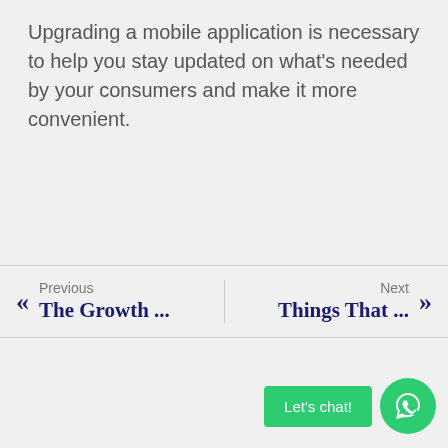Upgrading a mobile application is necessary to help you stay updated on what's needed by your consumers and make it more convenient.
« Previous The Growth ... | Next Things That ... »